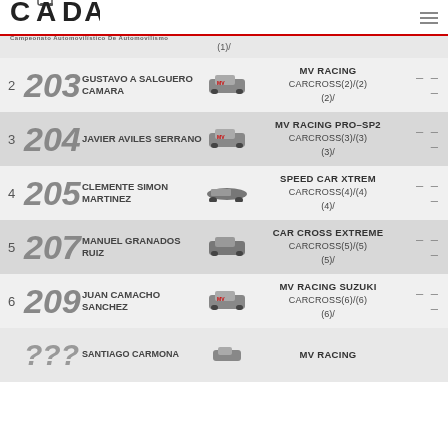CADA - Campeonato Automovilístico De Automovilismo
(1)/
2 203 GUSTAVO A SALGUERO CAMARA — MV RACING CARCROSS(2)/(2) (2)/ ---
3 204 JAVIER AVILES SERRANO — MV RACING PRO-SP2 CARCROSS(3)/(3) (3)/ ---
4 205 CLEMENTE SIMON MARTINEZ — SPEED CAR XTREM CARCROSS(4)/(4) (4)/ ---
5 207 MANUEL GRANADOS RUIZ — CAR CROSS EXTREME CARCROSS(5)/(5) (5)/ ---
6 209 JUAN CAMACHO SANCHEZ — MV RACING SUZUKI CARCROSS(6)/(6) (6)/ ---
7 — SANTIAGO CARMONA — MV RACING